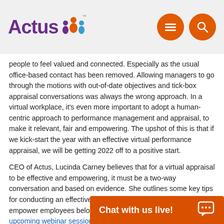Actus [logo]
people to feel valued and connected. Especially as the usual office-based contact has been removed. Allowing managers to go through the motions with out-of-date objectives and tick-box appraisal conversations was always the wrong approach. In a virtual workplace, it's even more important to adopt a human-centric approach to performance management and appraisal, to make it relevant, fair and empowering. The upshot of this is that if we kick-start the year with an effective virtual performance appraisal, we will be getting 2022 off to a positive start.
CEO of Actus, Lucinda Carney believes that for a virtual appraisal to be effective and empowering, it must be a two-way conversation and based on evidence. She outlines some key tips for conducting an effective virtual performance appraisal set to empower employees below. For more tips, sign up for her upcoming webinar session here or join our virtual management training programme.
Choose an appropriate environment
Make sure you set aside enough time and a quiet space where you can focus on the individual. You d…
Chat with us live!